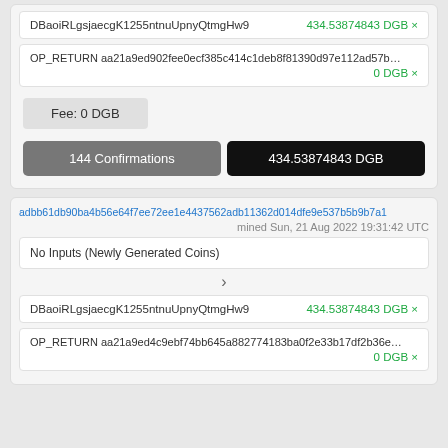DBaoiRLgsjaecgK1255ntnuUpnyQtmgHw9 — 434.53874843 DGB ×
OP_RETURN aa21a9ed902fee0ecf385c414c1deb8f81390d97e112ad57b… — 0 DGB ×
Fee: 0 DGB
144 Confirmations
434.53874843 DGB
adbb61db90ba4b56e64f7ee72ee1e4437562adb11362d014dfe9e537b5b9b7a1
mined Sun, 21 Aug 2022 19:31:42 UTC
No Inputs (Newly Generated Coins)
DBaoiRLgsjaecgK1255ntnuUpnyQtmgHw9 — 434.53874843 DGB ×
OP_RETURN aa21a9ed4c9ebf74bb645a882774183ba0f2e33b17df2b36e… — 0 DGB ×